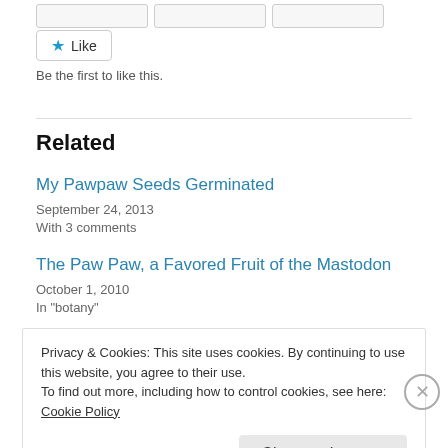[Figure (other): Three gray placeholder buttons at the top of the page]
★ Like
Be the first to like this.
Related
My Pawpaw Seeds Germinated
September 24, 2013
With 3 comments
The Paw Paw, a Favored Fruit of the Mastodon
October 1, 2010
In "botany"
Privacy & Cookies: This site uses cookies. By continuing to use this website, you agree to their use.
To find out more, including how to control cookies, see here: Cookie Policy
Close and accept